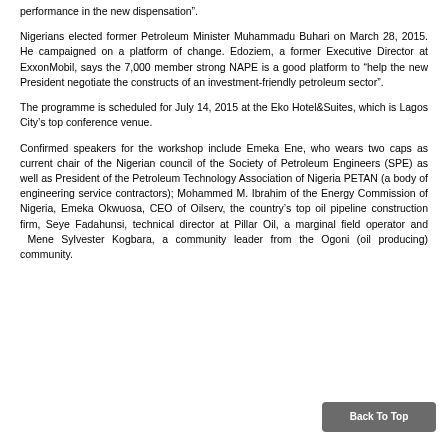performance in the new dispensation”.
Nigerians elected former Petroleum Minister Muhammadu Buhari on March 28, 2015. He campaigned on a platform of change. Edoziem, a former Executive Director at ExxonMobil, says the 7,000 member strong NAPE is a good platform to “help the new President negotiate the constructs of an investment-friendly petroleum sector”.
The programme is scheduled for July 14, 2015 at the Eko Hotel&Suites, which is Lagos City’s top conference venue.
Confirmed speakers for the workshop include Emeka Ene, who wears two caps as current chair of the Nigerian council of the Society of Petroleum Engineers (SPE) as well as President of the Petroleum Technology Association of Nigeria PETAN (a body of engineering service contractors); Mohammed M. Ibrahim of the Energy Commission of Nigeria, Emeka Okwuosa, CEO of Oilserv, the country’s top oil pipeline construction firm, Seye Fadahunsi, technical director at Pillar Oil, a marginal field operator and  Mene Sylvester Kogbara, a community leader from the Ogoni (oil producing) community.